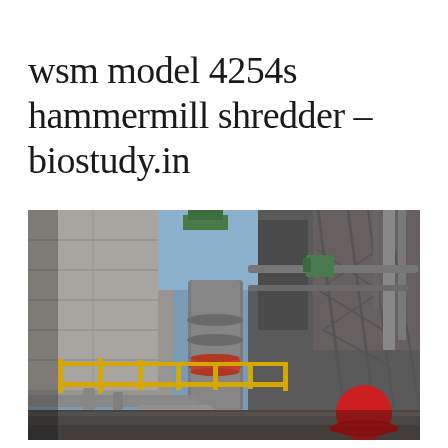wsm model 4254s hammermill shredder - biostudy.in
[Figure (photo): Industrial plant photograph showing large machinery including a hammermill shredder with cylindrical components, yellow safety railings, concrete structures, metal scaffolding and pipes, blue sky visible between structures, and a red hard hat visible in the lower right corner.]